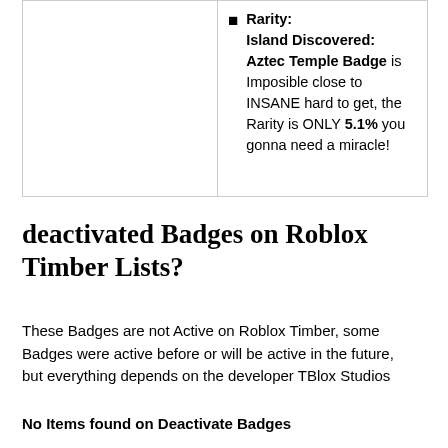Rarity: Island Discovered: Aztec Temple Badge is Imposible close to INSANE hard to get, the Rarity is ONLY 5.1% you gonna need a miracle!
deactivated Badges on Roblox Timber Lists?
These Badges are not Active on Roblox Timber, some Badges were active before or will be active in the future, but everything depends on the developer TBlox Studios
No Items found on Deactivate Badges